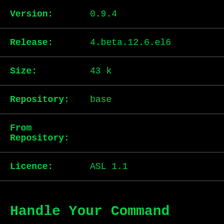| Field | Value |
| --- | --- |
| Version: | 0.9.4 |
| Release: | 4.beta.12.6.el6 |
| Size: | 43 k |
| Repository: | base |
| From
Repository: |  |
| Licence: | ASL 1.1 |
Handle Your Command